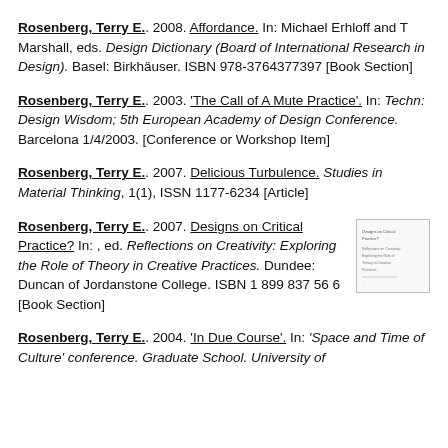Rosenberg, Terry E.. 2008. Affordance. In: Michael Erhloff and T Marshall, eds. Design Dictionary (Board of International Research in Design). Basel: Birkhäuser. ISBN 978-3764377397 [Book Section]
Rosenberg, Terry E.. 2003. 'The Call of A Mute Practice'. In: Techn: Design Wisdom; 5th European Academy of Design Conference. Barcelona 1/4/2003. [Conference or Workshop Item]
Rosenberg, Terry E.. 2007. Delicious Turbulence. Studies in Material Thinking, 1(1), ISSN 1177-6234 [Article]
Rosenberg, Terry E.. 2007. Designs on Critical Practice? In: , ed. Reflections on Creativity: Exploring the Role of Theory in Creative Practices. Dundee: Duncan of Jordanstone College. ISBN 1 899 837 56 6 [Book Section]
Rosenberg, Terry E.. 2004. 'In Due Course'. In: 'Space and Time of Culture' conference. Graduate School. University of